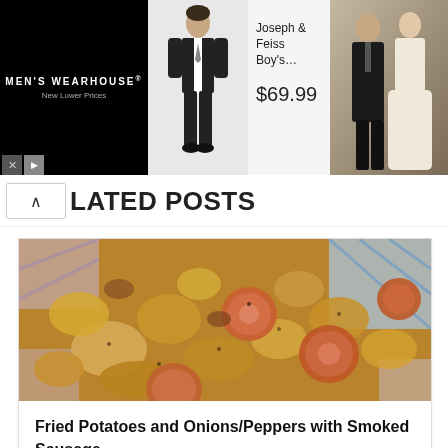[Figure (other): Men's Wearhouse advertisement banner with product image of boy's suit (Joseph & Feiss Boy's) priced at $69.99 and a wedding couple photo on the right]
LATED POSTS
[Figure (photo): Photo of fried potatoes and onions/peppers with smoked sausage on a plate with a blue and white checkered tablecloth]
Fried Potatoes and Onions/Peppers with Smoked Sausage